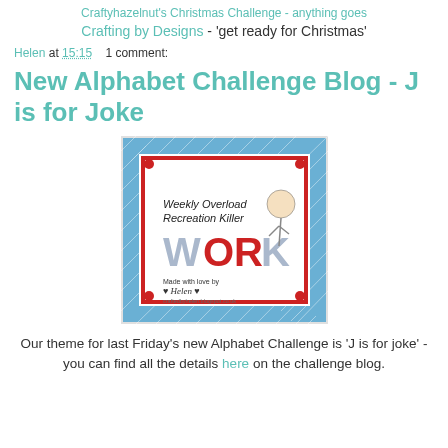Craftyhazelnut's Christmas Challenge - anything goes
Crafting by Designs - 'get ready for Christmas'
Helen at 15:15    1 comment:
New Alphabet Challenge Blog - J is for Joke
[Figure (photo): A handmade greeting card with blue diamond patterned background, red border, and comic illustration. Text on card reads 'Weekly Overload Recreation Killer' with large letters spelling WORK. Red dots at corners. 'Made with love by Helen' at bottom with website craftedbyhelen.blogspot.co.uk]
Our theme for last Friday's new Alphabet Challenge is 'J is for joke' - you can find all the details here on the challenge blog.